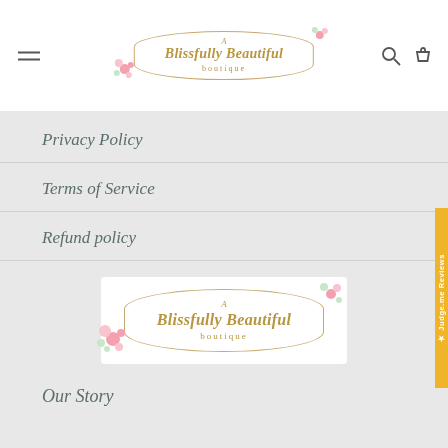A Blissfully Beautiful boutique
Privacy Policy
Terms of Service
Refund policy
[Figure (logo): A Blissfully Beautiful boutique logo with floral decorations, cursive gold text in a decorative border frame]
Our Story